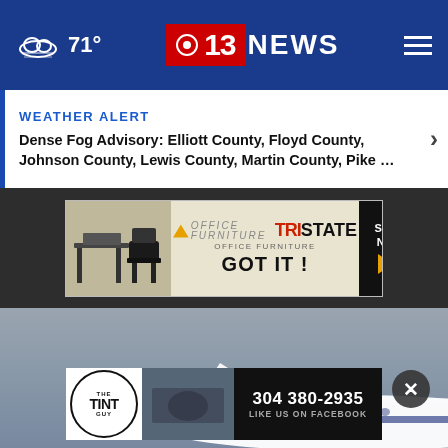71° — CBS 13 NEWS — Navigation menu
WEATHER ALERT
Dense Fog Advisory: Elliott County, Floyd County, Johnson County, Lewis County, Martin County, Pike …
[Figure (photo): Tri State Office Furniture advertisement banner: 'GOT IT! SHOP NOW']
[Figure (photo): Background photo of an airplane on a foggy/cloudy day, showing partial view of fuselage and tail]
[Figure (photo): The Tint Guy advertisement banner: phone number 304 380-2935, LIKE US ON FACEBOOK]